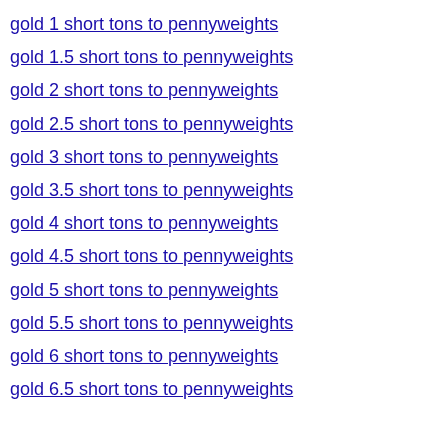gold 1 short tons to pennyweights
gold 1.5 short tons to pennyweights
gold 2 short tons to pennyweights
gold 2.5 short tons to pennyweights
gold 3 short tons to pennyweights
gold 3.5 short tons to pennyweights
gold 4 short tons to pennyweights
gold 4.5 short tons to pennyweights
gold 5 short tons to pennyweights
gold 5.5 short tons to pennyweights
gold 6 short tons to pennyweights
gold 6.5 short tons to pennyweights